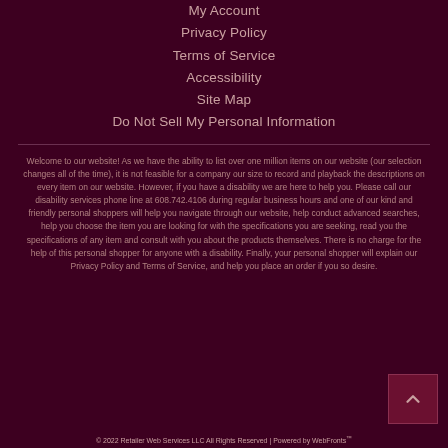My Account
Privacy Policy
Terms of Service
Accessibility
Site Map
Do Not Sell My Personal Information
Welcome to our website! As we have the ability to list over one million items on our website (our selection changes all of the time), it is not feasible for a company our size to record and playback the descriptions on every item on our website. However, if you have a disability we are here to help you. Please call our disability services phone line at 608.742.4106 during regular business hours and one of our kind and friendly personal shoppers will help you navigate through our website, help conduct advanced searches, help you choose the item you are looking for with the specifications you are seeking, read you the specifications of any item and consult with you about the products themselves. There is no charge for the help of this personal shopper for anyone with a disability. Finally, your personal shopper will explain our Privacy Policy and Terms of Service, and help you place an order if you so desire.
© 2022 Retailer Web Services LLC All Rights Reserved | Powered by WebFronts™